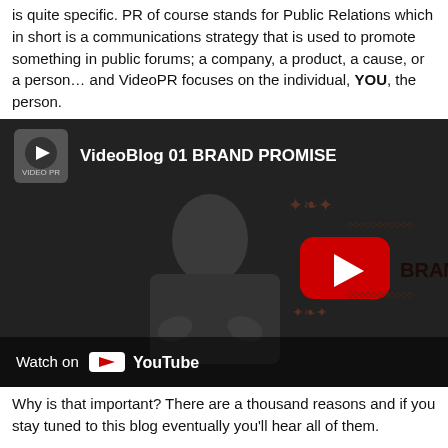is quite specific. PR of course stands for Public Relations which in short is a communications strategy that is used to promote something in public forums; a company, a product, a cause, or a person… and VideoPR focuses on the individual, YOU, the person.
[Figure (screenshot): YouTube video embed showing a man gesturing, with title 'VideoBlog 01 BRAND PROMISE', YouTube play button overlay, and 'Watch on YouTube' bar at the bottom.]
Why is that important? There are a thousand reasons and if you stay tuned to this blog eventually you'll hear all of them.